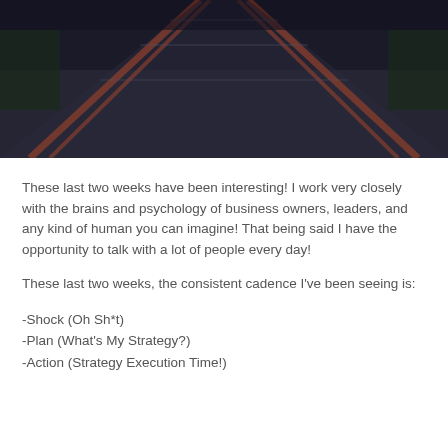[Figure (photo): Aerial or perspective view of a bridge or railway tracks with orange/red structural elements against a dark background]
These last two weeks have been interesting! I work very closely with the brains and psychology of business owners, leaders, and any kind of human you can imagine! That being said I have the opportunity to talk with a lot of people every day!
These last two weeks, the consistent cadence I've been seeing is:
-Shock (Oh Sh*t)
-Plan (What's My Strategy?)
-Action (Strategy Execution Time!)